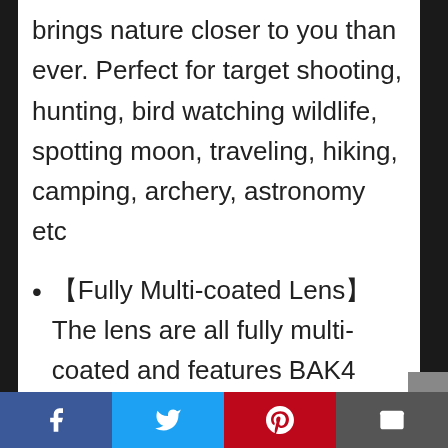brings nature closer to you than ever. Perfect for target shooting, hunting, bird watching wildlife, spotting moon, traveling, hiking, camping, archery, astronomy etc
【Fully Multi-coated Lens】The lens are all fully multi-coated and features BAK4 roof prism to increases light transmission and delivers bright, clear, high-contrast images even in low-light conditions. For long range viewing, a dual focus wheel system enables fast and fine-tuning focus adjustment,allows you
Facebook | Twitter | Pinterest | Email